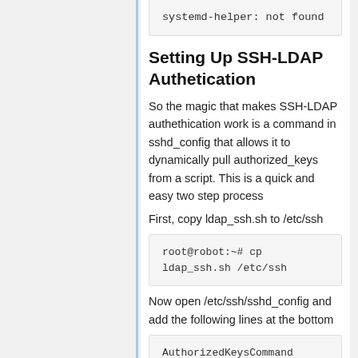systemd-helper: not found
Setting Up SSH-LDAP Authetication
So the magic that makes SSH-LDAP authethication work is a command in sshd_config that allows it to dynamically pull authorized_keys from a script. This is a quick and easy two step process
First, copy ldap_ssh.sh to /etc/ssh
root@robot:~# cp ldap_ssh.sh /etc/ssh
Now open /etc/ssh/sshd_config and add the following lines at the bottom
AuthorizedKeysCommand /etc/ssh/ldap_ssh.sh